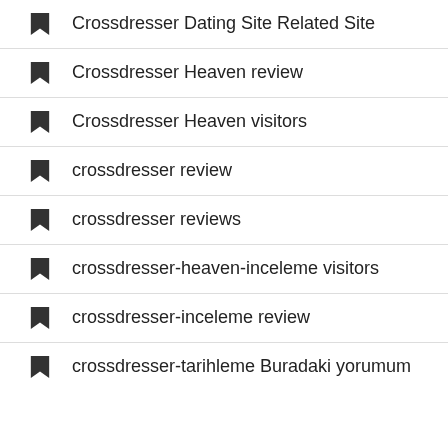Crossdresser Dating Site Related Site
Crossdresser Heaven review
Crossdresser Heaven visitors
crossdresser review
crossdresser reviews
crossdresser-heaven-inceleme visitors
crossdresser-inceleme review
crossdresser-tarihleme Buradaki yorumum